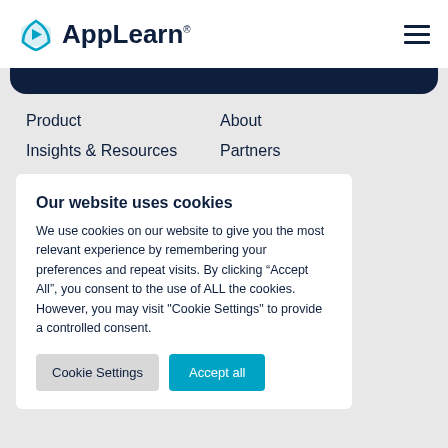AppLearn
Product
About
Insights & Resources
Partners
Our website uses cookies
We use cookies on our website to give you the most relevant experience by remembering your preferences and repeat visits. By clicking “Accept All”, you consent to the use of ALL the cookies. However, you may visit "Cookie Settings" to provide a controlled consent.
Cookie Settings | Accept all